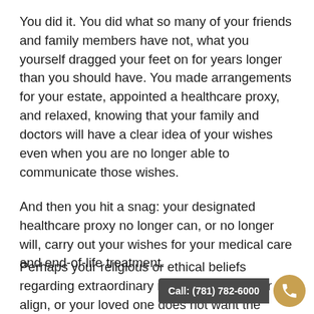You did it. You did what so many of your friends and family members have not, what you yourself dragged your feet on for years longer than you should have. You made arrangements for your estate, appointed a healthcare proxy, and relaxed, knowing that your family and doctors will have a clear idea of your wishes even when you are no longer able to communicate those wishes.
And then you hit a snag: your designated healthcare proxy no longer can, or no longer will, carry out your wishes for your medical care and end-of-life treatment.
Perhaps your religious or ethical beliefs regarding extraordinary measures no longer align, or your loved one does not want the responsibility of “making the call.” Perhaps your healthcare proxy, or perhaps your healthcare proxy